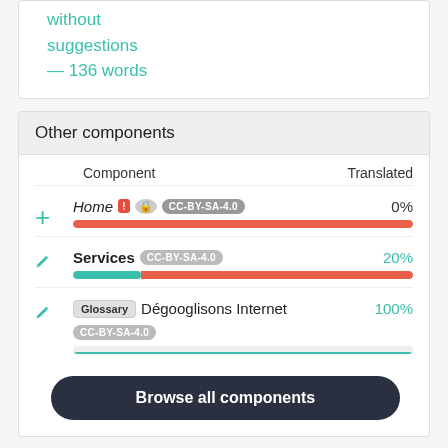without suggestions — 136 words
Other components
| Component | Translated |
| --- | --- |
| Home CC-BY-SA-4.0 | 0% |
| Services CC-BY-SA-4.0 | 20% |
| Glossary Dégooglisons Internet CC-BY-SA-4.0 | 100% |
Browse all components